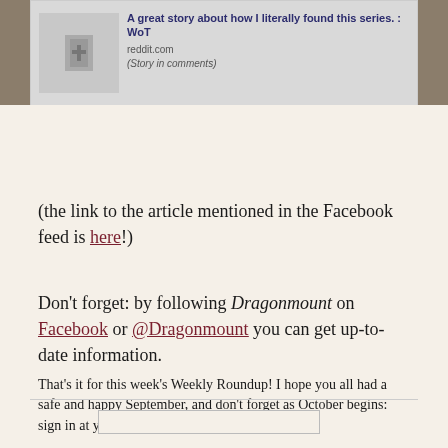[Figure (screenshot): Social media card showing a Reddit post titled 'A great story about how I literally found this series. : WoT' with source reddit.com and note '(Story in comments)']
(the link to the article mentioned in the Facebook feed is here!)
Don't forget: by following Dragonmount on Facebook or @Dragonmount you can get up-to-date information.
That's it for this week's Weekly Roundup! I hope you all had a safe and happy September, and don't forget as October begins: sign in at your Social Groups!